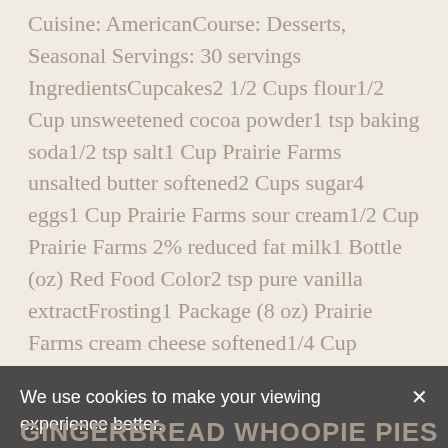Cuisine: AmericanCourse: Desserts, Seasonal Servings: 30 servings IngredientsCupcakes2 1/2 Cups flour1/2 Cup unsweetened cocoa powder1 tsp baking soda1/2 tsp salt1 Cup Prairie Farms unsalted butter softened2 Cups sugar4 eggs1 Cup Prairie Farms sour cream1/2 Cup Prairie Farms 2% reduced fat milk1 Bottle (oz) Red Food Color2 tsp pure vanilla extractFrosting1 Package (8 oz) Prairie Farms cream cheese softened1/4 Cup Prairie...
READ MORE
We use cookies to make your viewing experience better.
GINGERBREAD WHOOPIE PIES